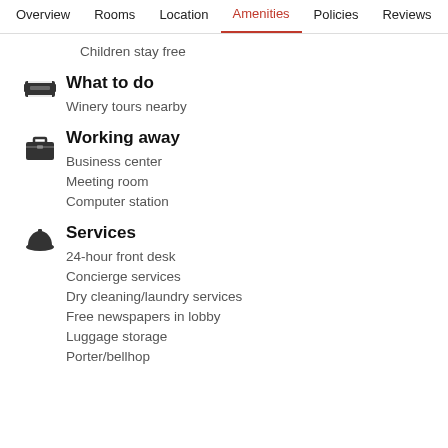Overview  Rooms  Location  Amenities  Policies  Reviews
Children stay free
What to do
Winery tours nearby
Working away
Business center
Meeting room
Computer station
Services
24-hour front desk
Concierge services
Dry cleaning/laundry services
Free newspapers in lobby
Luggage storage
Porter/bellhop